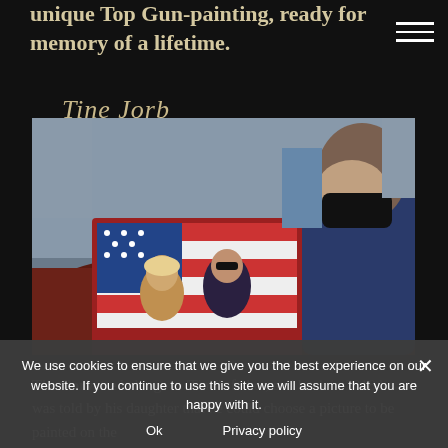unique Top Gun-painting, ready for memory of a lifetime.
[Figure (illustration): Cursive signature in gold/cream color, reading 'Tine Jorb' or similar stylized name]
[Figure (photo): A man wearing a black face mask and blue sweater views a painted canvas featuring Top Gun movie characters (a woman and sunglasses-wearing man in leather jacket) on an American flag background. The painting is displayed on the hood of a classic car.]
We use cookies to ensure that we give you the best experience on our website. If you continue to use this site we will assume that you are happy with it.
Ok   Privacy policy
The Corvette belongs to 'Tine''s father, and back in 2018 he was told by his daughter that he could choose a picture to be painted on the